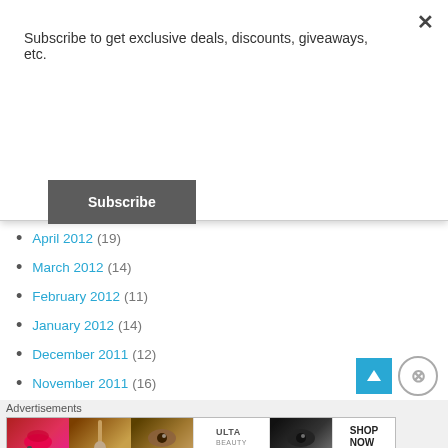Subscribe to get exclusive deals, discounts, giveaways, etc.
Subscribe
April 2012 (19)
March 2012 (14)
February 2012 (11)
January 2012 (14)
December 2011 (12)
November 2011 (16)
October 2011 (13)
September 2011 (4)
Advertisements
[Figure (screenshot): ULTA beauty advertisement banner with makeup imagery and 'SHOP NOW' text]